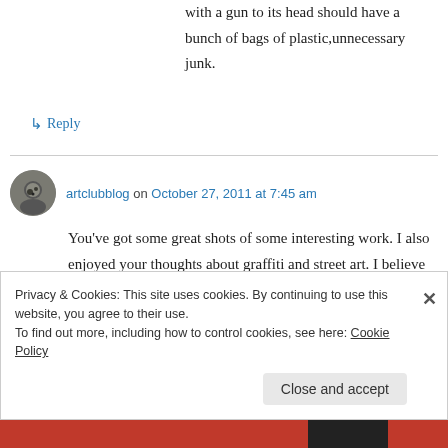with a gun to its head should have a bunch of bags of plastic,unnecessary junk.
↳ Reply
artclubblog on October 27, 2011 at 7:45 am
You've got some great shots of some interesting work. I also enjoyed your thoughts about graffiti and street art. I believe we are in the midst of an amazing urban art movement, which will be
Privacy & Cookies: This site uses cookies. By continuing to use this website, you agree to their use. To find out more, including how to control cookies, see here: Cookie Policy
Close and accept